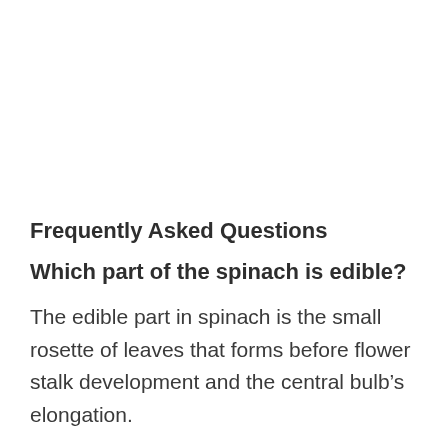Frequently Asked Questions
Which part of the spinach is edible?
The edible part in spinach is the small rosette of leaves that forms before flower stalk development and the central bulb’s elongation.